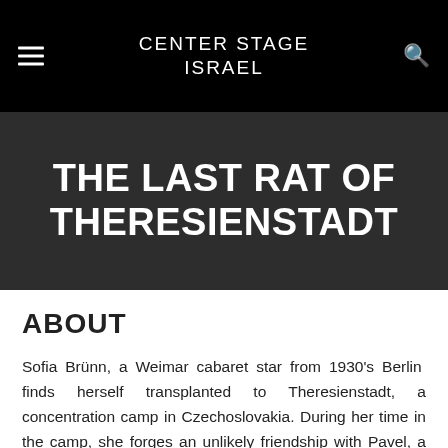CENTER STAGE ISRAEL
THE LAST RAT OF THERESIENSTADT
ABOUT
Sofia Brünn, a Weimar cabaret star from 1930's Berlin finds herself transplanted to Theresienstadt, a concentration camp in Czechoslovakia. During her time in the camp, she forges an unlikely friendship with Pavel, a rat. Despite the lack of food that has driven